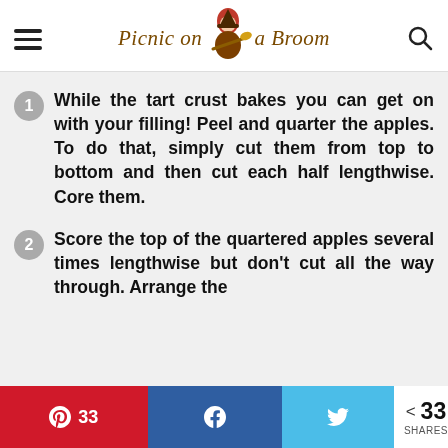Picnic on a Broom
While the tart crust bakes you can get on with your filling! Peel and quarter the apples. To do that, simply cut them from top to bottom and then cut each half lengthwise. Core them.
Score the top of the quartered apples several times lengthwise but don't cut all the way through. Arrange the
33 | Share | 33 SHARES